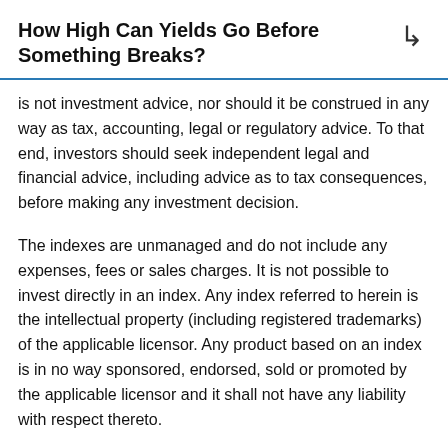How High Can Yields Go Before Something Breaks?
is not investment advice, nor should it be construed in any way as tax, accounting, legal or regulatory advice. To that end, investors should seek independent legal and financial advice, including advice as to tax consequences, before making any investment decision.
The indexes are unmanaged and do not include any expenses, fees or sales charges. It is not possible to invest directly in an index. Any index referred to herein is the intellectual property (including registered trademarks) of the applicable licensor. Any product based on an index is in no way sponsored, endorsed, sold or promoted by the applicable licensor and it shall not have any liability with respect thereto.
This material is not a product of Morgan Stanley's Research Department and should not be regarded as a research